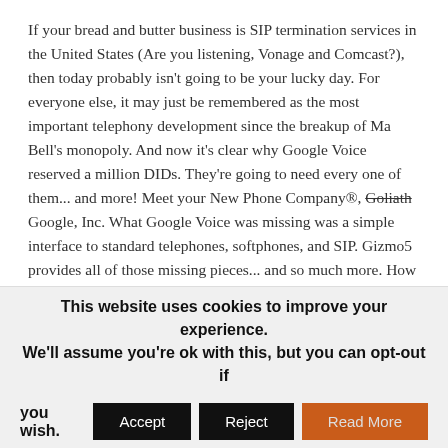If your bread and butter business is SIP termination services in the United States (Are you listening, Vonage and Comcast?), then today probably isn't going to be your lucky day. For everyone else, it may just be remembered as the most important telephony development since the breakup of Ma Bell's monopoly. And now it's clear why Google Voice reserved a million DIDs. They're going to need every one of them... and more! Meet your New Phone Company®, Goliath [strikethrough] Google, Inc. What Google Voice was missing was a simple interface to standard telephones, softphones, and SIP. Gizmo5 provides all of those missing pieces... and so much more. How about an almost-free Skype interface for openers.
As many of you know, we were ecstatic when Google Voice arrived with free U.S. calling, voice mail transcription, and SIP connectivity to Asterisk. Our solution lasted less than a week until
This website uses cookies to improve your experience. We'll assume you're ok with this, but you can opt-out if you wish. [Accept] [Reject] [Read More]